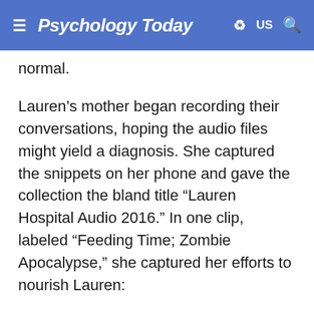Psychology Today — US
normal.
Lauren’s mother began recording their conversations, hoping the audio files might yield a diagnosis. She captured the snippets on her phone and gave the collection the bland title “Lauren Hospital Audio 2016.” In one clip, labeled “Feeding Time; Zombie Apocalypse,” she captured her efforts to nourish Lauren:
“Want some more melon?” she asked.
“Look for supplies, or look for families or friends we used to know,” Lauren said. She spoke quickly,